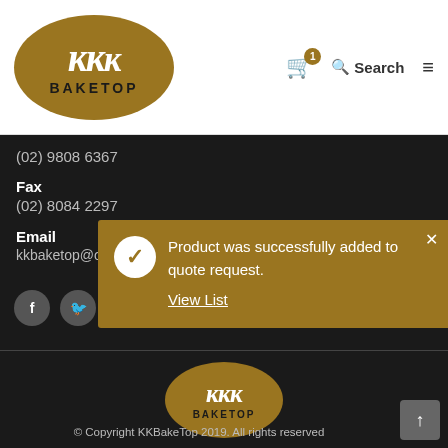[Figure (logo): KKBakeTop logo — gold oval with stylized KKK letters and BAKETOP text]
(02) 9808 6367
Fax
(02) 8084 2297
Email
kkbaketop@optusne
Product was successfully added to quote request.
View List
[Figure (logo): KKBakeTop footer logo — gold oval with stylized KKK letters and BAKETOP text]
© Copyright KKBakeTop 2019. All rights reserved